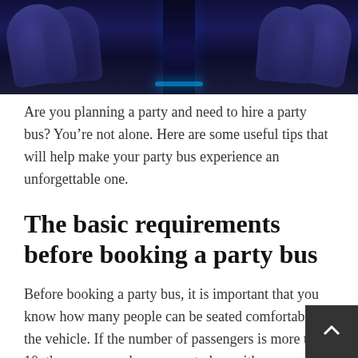[Figure (photo): Interior of a party bus showing luxury seating with blue ambient lighting and a central aisle]
Are you planning a party and need to hire a party bus? You're not alone. Here are some useful tips that will help make your party bus experience an unforgettable one.
The basic requirements before booking a party bus
Before booking a party bus, it is important that you know how many people can be seated comfortably in the vehicle. If the number of passengers is more than 10, then you can choose a party bus with more seats.
For example, if you are having a birthday party and